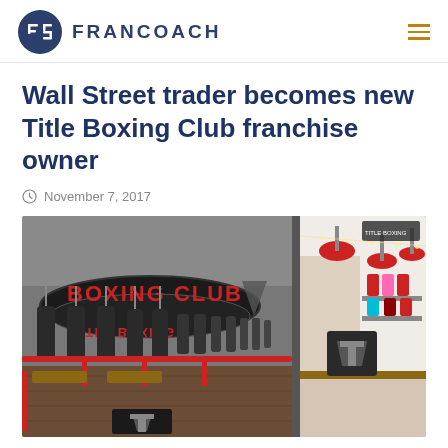FRANCOACH
Wall Street trader becomes new Title Boxing Club franchise owner
November 7, 2017
[Figure (photo): Interior of a Title Boxing Club franchise showing rows of heavy punching bags hanging from the ceiling, a large circular banner reading BOXING CLUB, hardwood floors, and a retail merchandise area visible on the right with red pendant lights and colorful apparel on display.]